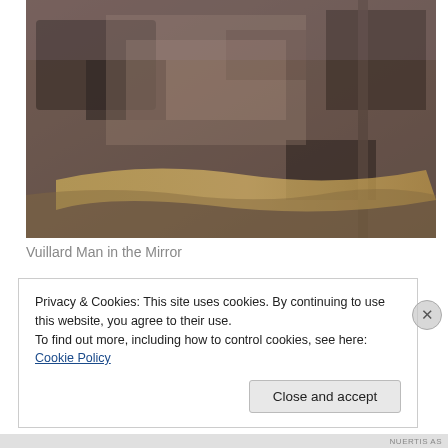[Figure (photo): Close-up photograph of a textured surface with dark brown and warm yellowish tones, appearing to be a detail of a painting — Vuillard Man in the Mirror. The image shows mottled, dusty-looking paint with abstract shapes and warm ochre streaks visible at the bottom.]
Vuillard Man in the Mirror
Privacy & Cookies: This site uses cookies. By continuing to use this website, you agree to their use.
To find out more, including how to control cookies, see here: Cookie Policy
Close and accept